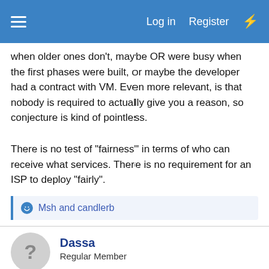Log in  Register
when older ones don't, maybe OR were busy when the first phases were built, or maybe the developer had a contract with VM. Even more relevant, is that nobody is required to actually give you a reason, so conjecture is kind of pointless.

There is no test of "fairness" in terms of who can receive what services. There is no requirement for an ISP to deploy "fairly".
Msh and candlerb
Dassa
Regular Member
Jan 26, 2022
#15
Hi,
Ron Swanson said: ↑
Nobody likes to take on companies? You just sit back and take